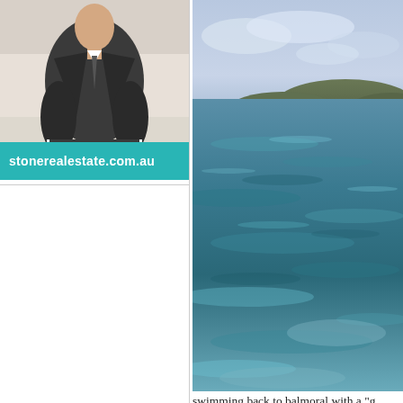[Figure (photo): Person in dark suit seated, hands clasped, real estate advertisement photo]
stonerealestate.com.au
[Figure (photo): Ocean water surface with hills in background, blue-green water with ripples]
swimming back to balmoral with a "g
[Figure (photo): Blue sky/water photo partially visible at bottom]